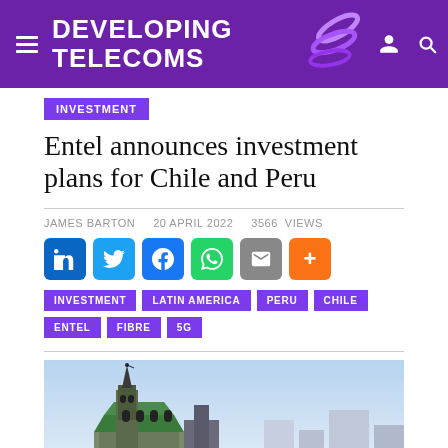DEVELOPING TELECOMS
INVESTMENT
Entel announces investment plans for Chile and Peru
JAMES BARTON   20 APRIL 2022   3566 views
[Figure (other): Social media share buttons: LinkedIn, Twitter, Facebook, WhatsApp, Email, More]
INVESTMENT   LATIN AMERICA   PERU   CHILE   ENTEL   FIBRE   5G
[Figure (photo): Photograph of a church or cathedral with spires against a light blue sky, representing a Latin American city scene]